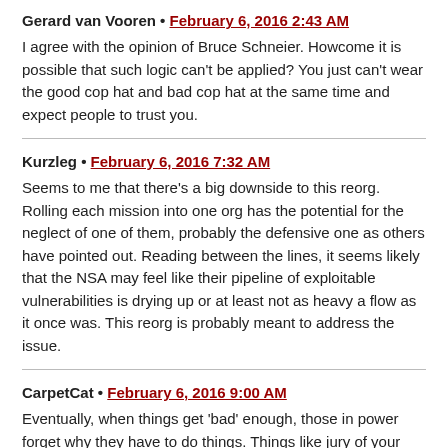Gerard van Vooren • February 6, 2016 2:43 AM
I agree with the opinion of Bruce Schneier. Howcome it is possible that such logic can't be applied? You just can't wear the good cop hat and bad cop hat at the same time and expect people to trust you.
Kurzleg • February 6, 2016 7:32 AM
Seems to me that there's a big downside to this reorg. Rolling each mission into one org has the potential for the neglect of one of them, probably the defensive one as others have pointed out. Reading between the lines, it seems likely that the NSA may feel like their pipeline of exploitable vulnerabilities is drying up or at least not as heavy a flow as it once was. This reorg is probably meant to address the issue.
CarpetCat • February 6, 2016 9:00 AM
Eventually, when things get 'bad' enough, those in power forget why they have to do things. Things like jury of your peers, due process, peace comites, etc.